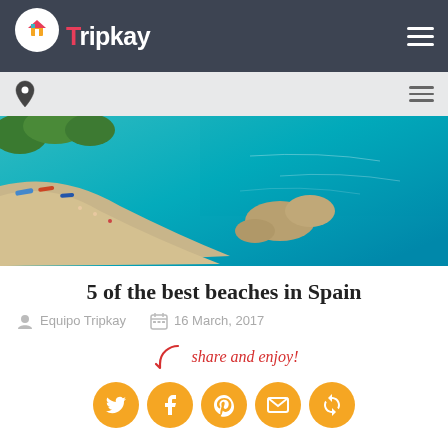Tripkay — navigation header with logo and hamburger menu
[Figure (screenshot): Secondary navigation bar with location pin icon and hamburger menu on gray background]
[Figure (photo): Aerial view of a Spanish beach with turquoise water, sandy shore, rocks, and boats]
5 of the best beaches in Spain
Equipo Tripkay   16 March, 2017
[Figure (infographic): Share and enjoy! with social media icons: Twitter, Facebook, Pinterest, Email, and a circular arrow icon — all in orange circles]